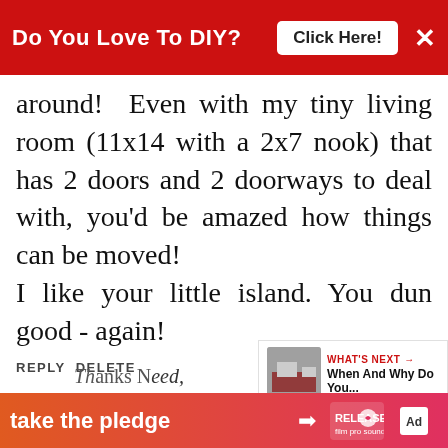Do You Love To DIY? [Click Here!] ×
around! Even with my tiny living room (11x14 with a 2x7 nook) that has 2 doors and 2 doorways to deal with, you'd be amazed how things can be moved! I like your little island. You dun good - again!
REPLY DELETE
▼ REPLIES
Kim
JULY 1, 2015 AT 8:56 PM
take the pledge →